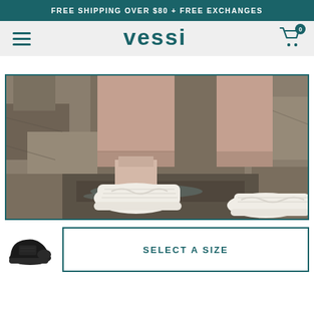FREE SHIPPING OVER $80 + FREE EXCHANGES
vessi
[Figure (photo): Close-up photo of a person wearing white/cream Vessi sneakers near rocky water, with pink cuffed pants, showing the ankle and shoe detail]
[Figure (photo): Small thumbnail of a black Vessi sneaker]
SELECT A SIZE